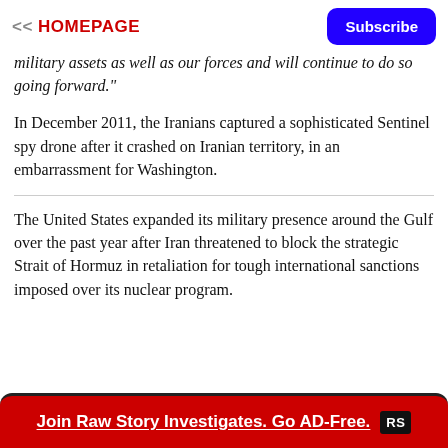<< HOMEPAGE  |  Subscribe
military assets as well as our forces and will continue to do so going forward."
In December 2011, the Iranians captured a sophisticated Sentinel spy drone after it crashed on Iranian territory, in an embarrassment for Washington.
The United States expanded its military presence around the Gulf over the past year after Iran threatened to block the strategic Strait of Hormuz in retaliation for tough international sanctions imposed over its nuclear program.
[Figure (infographic): Red banner ad reading 'Join Raw Story Investigates. Go AD-Free.' with RS logo]